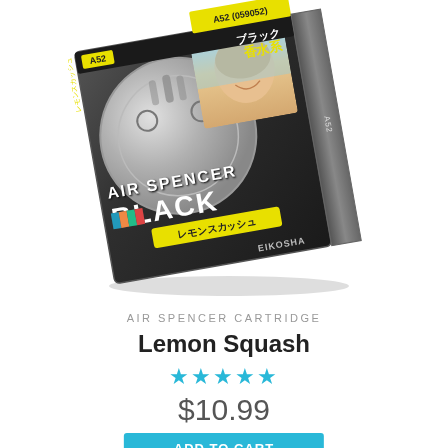[Figure (photo): Air Spencer Black Lemon Squash car air freshener cartridge product box. The box is dark gray/black with a silver circular design showing stylized air vents, the brand text 'AIR SPENCER BLACK' in bold white letters, a yellow label with Japanese text (レモンスカッシュ), EIKOSHA branding, an A52 product code label, and a photo of a smiling woman. The box has Japanese text including ブラック 香水系.]
AIR SPENCER CARTRIDGE
Lemon Squash
★★★★★
$10.99